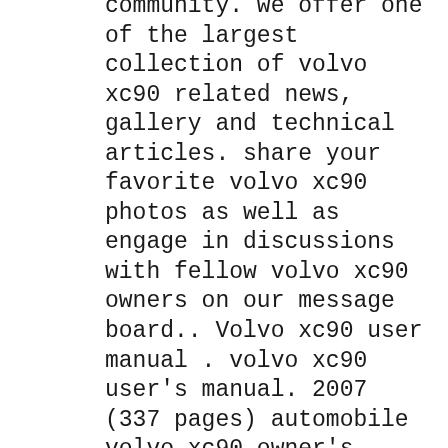community. we offer one of the largest collection of volvo xc90 related news, gallery and technical articles. share your favorite volvo xc90 photos as well as engage in discussions with fellow volvo xc90 owners on our message board.. Volvo xc90 user manual . volvo xc90 user's manual. 2007 (337 pages) automobile volvo xc90 owner's manual (320 pages) page 1 2005 volvo xc90 introduction welcome to the world-wide family of volvo owners. we trust that you will enjoy many years of safe driving in your volvo, an automobile designed with your safety and comfort in mind.....
2021-10-02